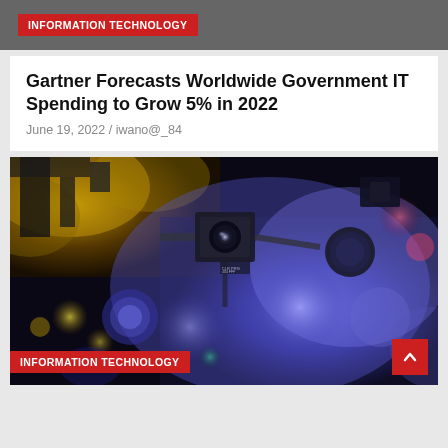INFORMATION TECHNOLOGY
Gartner Forecasts Worldwide Government IT Spending to Grow 5% in 2022
June 19, 2022 / iwano@_84
[Figure (photo): Close-up photo of scientific/optical equipment with colorful purple and yellow bokeh lighting — appears to be laser or optical lab instruments with lenses and mounts]
INFORMATION TECHNOLOGY